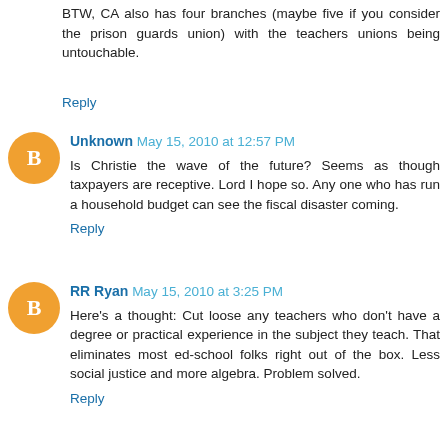BTW, CA also has four branches (maybe five if you consider the prison guards union) with the teachers unions being untouchable.
Reply
Unknown May 15, 2010 at 12:57 PM
Is Christie the wave of the future? Seems as though taxpayers are receptive. Lord I hope so. Any one who has run a household budget can see the fiscal disaster coming.
Reply
RR Ryan May 15, 2010 at 3:25 PM
Here's a thought: Cut loose any teachers who don't have a degree or practical experience in the subject they teach. That eliminates most ed-school folks right out of the box. Less social justice and more algebra. Problem solved.
Reply